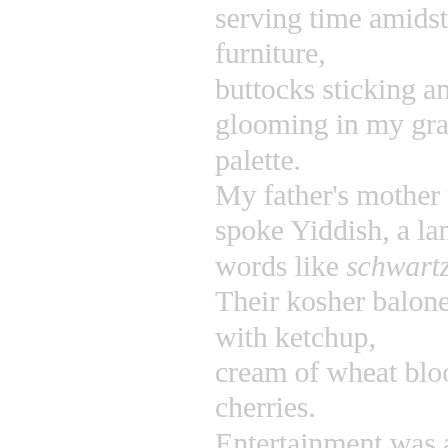serving time amidst plastic-covered furniture,
buttocks sticking and pulling free,
glooming in my grandparents' grey palette.
My father's mother wore funereal black,
spoke Yiddish, a language of secrets,
words like schwartze and goyim.
Their kosher baloney was seasoned with ketchup,
cream of wheat bloodied by maraschino cherries.
Entertainment was a jar of marbles,
rolled one after another down a featureless hall.
Time stretched like taffy, drooped like pulled gum.
I wore the holocaust in my bones,
feared Nazis lurking.